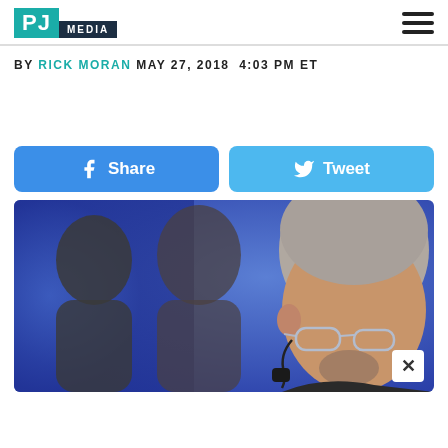PJ MEDIA
BY RICK MORAN MAY 27, 2018 4:03 PM ET
[Figure (other): Facebook Share button and Twitter Tweet button]
[Figure (photo): Close-up photo of two men from behind/side, one with grey hair and glasses wearing an earpiece, blue blurred background]